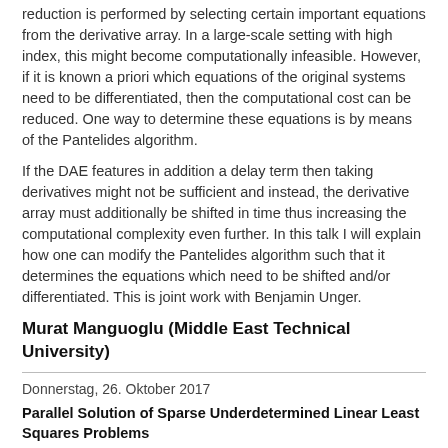reduction is performed by selecting certain important equations from the derivative array. In a large-scale setting with high index, this might become computationally infeasible. However, if it is known a priori which equations of the original systems need to be differentiated, then the computational cost can be reduced. One way to determine these equations is by means of the Pantelides algorithm.
If the DAE features in addition a delay term then taking derivatives might not be sufficient and instead, the derivative array must additionally be shifted in time thus increasing the computational complexity even further. In this talk I will explain how one can modify the Pantelides algorithm such that it determines the equations which need to be shifted and/or differentiated. This is joint work with Benjamin Unger.
Murat Manguoglu (Middle East Technical University)
Donnerstag, 26. Oktober 2017
Parallel Solution of Sparse Underdetermined Linear Least Squares Problems
Sparse underdetermined systems of equations in which the minimum norm solution needs to be computed arise in many applications, such as geophysics, signal processing, and